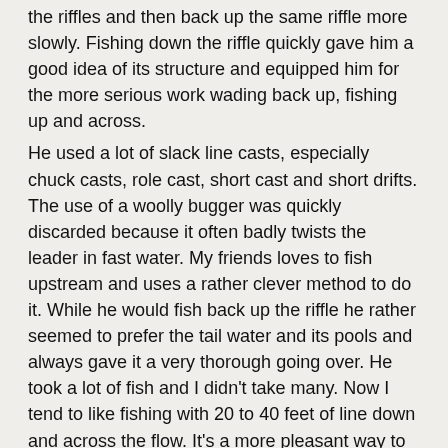the riffles and then back up the same riffle more slowly. Fishing down the riffle quickly gave him a good idea of its structure and equipped him for the more serious work wading back up, fishing up and across.
He used a lot of slack line casts, especially chuck casts, role cast, short cast and short drifts. The use of a woolly bugger was quickly discarded because it often badly twists the leader in fast water. My friends loves to fish upstream and uses a rather clever method to do it. While he would fish back up the riffle he rather seemed to prefer the tail water and its pools and always gave it a very thorough going over. He took a lot of fish and I didn't take many. Now I tend to like fishing with 20 to 40 feet of line down and across the flow. It's a more pleasant way to wade and easier to move to various vantage points. Moreover, most of the fish that I have taken have been at the end of a drift. So I prefer shorter drifts to fewer long ones.
Where They Are
Fish are all over the North Fork and I am often surprised where I